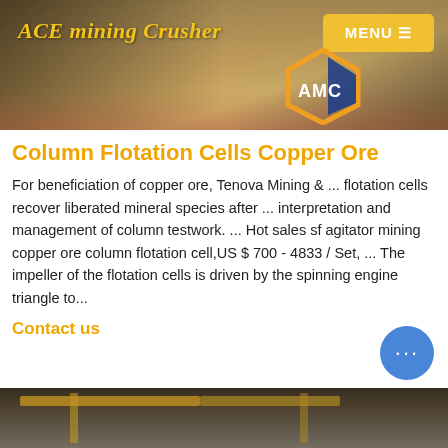ACE mining Crusher
[Figure (photo): Industrial mining site with heavy machinery, cranes, and construction equipment. AMC logo visible on right side.]
Column Flotation Cells Copper Ore
For beneficiation of copper ore, Tenova Mining & ... flotation cells recover liberated mineral species after ... interpretation and management of column testwork. ... Hot sales sf agitator mining copper ore column flotation cell,US $ 700 - 4833 / Set, ... The impeller of the flotation cells is driven by the spinning engine triangle to...
Contact us
[Figure (photo): Industrial warehouse or factory interior with overhead cranes and yellow structural beams.]